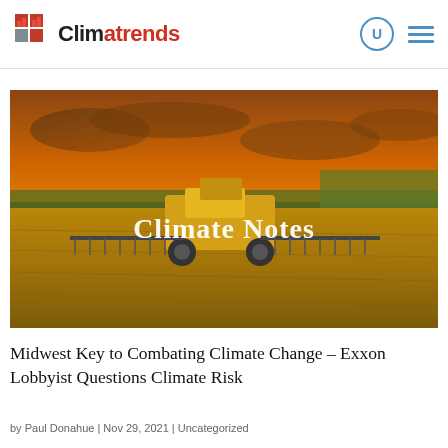Climatrends
[Figure (photo): Agricultural tractor/sprayer machine working in a harvested wheat field under a dramatic orange sunset sky. Overlay text reads 'Climate Notes' in white bold serif font.]
Midwest Key to Combating Climate Change – Exxon Lobbyist Questions Climate Risk
by Paul Donahue | Nov 29, 2021 | Uncategorized